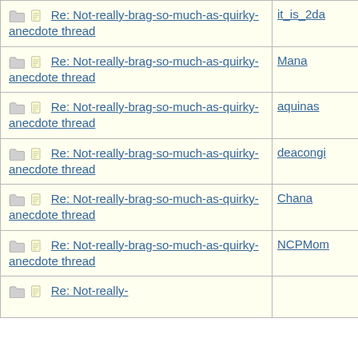| Subject | Author |
| --- | --- |
| Re: Not-really-brag-so-much-as-quirky-anecdote thread | it_is_2da |
| Re: Not-really-brag-so-much-as-quirky-anecdote thread | Mana |
| Re: Not-really-brag-so-much-as-quirky-anecdote thread | aquinas |
| Re: Not-really-brag-so-much-as-quirky-anecdote thread | deacongi |
| Re: Not-really-brag-so-much-as-quirky-anecdote thread | Chana |
| Re: Not-really-brag-so-much-as-quirky-anecdote thread | NCPMom |
| Re: Not-really-... |  |